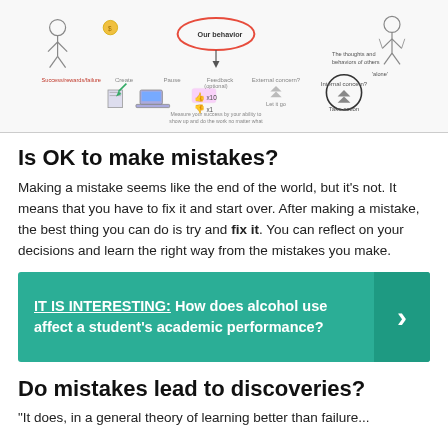[Figure (infographic): Educational infographic showing a mind map or process diagram about behavior, thoughts, feedback, and social rewards. Contains small illustrated icons including a person, laptop, books, thumbs up/down icons, arrows, and text labels like 'Our behavior', 'The thoughts and behaviors of others', 'Success rewards failure', 'Create', 'Feedback', 'External concern', 'Internal concern', 'Take action', 'Let it go'.]
Is OK to make mistakes?
Making a mistake seems like the end of the world, but it's not. It means that you have to fix it and start over. After making a mistake, the best thing you can do is try and fix it. You can reflect on your decisions and learn the right way from the mistakes you make.
IT IS INTERESTING:  How does alcohol use affect a student's academic performance?
Do mistakes lead to discoveries?
"It does, in a general theory of learning better than failure...